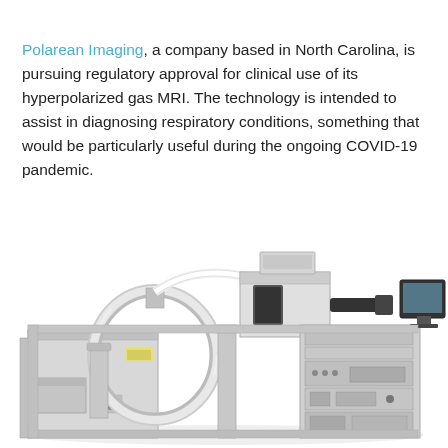Polarean Imaging, a company based in North Carolina, is pursuing regulatory approval for clinical use of its hyperpolarized gas MRI. The technology is intended to assist in diagnosing respiratory conditions, something that would be particularly useful during the ongoing COVID-19 pandemic.
[Figure (photo): Photograph of a Polarean hyperpolarized gas MRI machine — a large laboratory/medical device with metal framework, circular coil, tubing, electronic rack components, and a monitor, shown on a white background.]